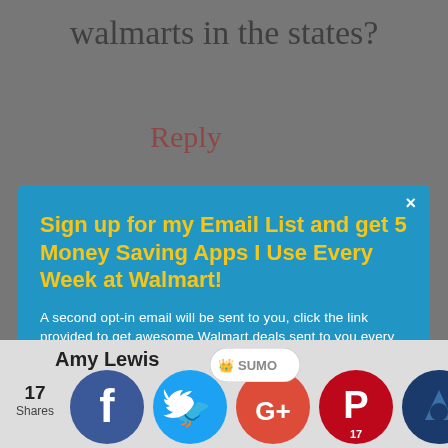walmarts in the states?
Reply
Sign up for my Email List and get 5 Money Saving Apps I Use Every Week at Walmart!
A second opt-in email will be sent to you, click the link provided to get awesome Walmart deals sent to you every day.
Enter your Email
SUBSCRIBE NOW
Amy Lewis
17 Shares
[Figure (screenshot): Social media sharing icons: Facebook (blue circle), Twitter (blue circle), Google+ (red circle), Pinterest (red circle with number 17), and a dark blue Sumo crown icon. Also a SUMO badge at the top.]